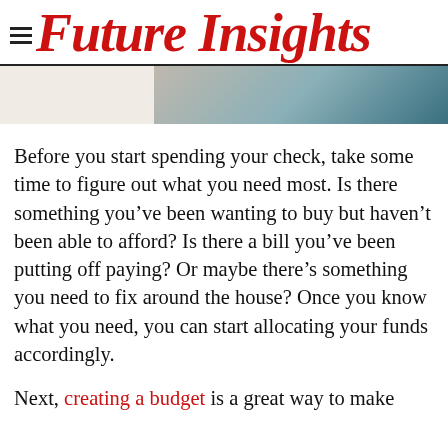Future Insights
[Figure (photo): Partial view of a photo showing what appears to be a document or surface, cropped at top of the article body]
Before you start spending your check, take some time to figure out what you need most. Is there something you’ve been wanting to buy but haven’t been able to afford? Is there a bill you’ve been putting off paying? Or maybe there’s something you need to fix around the house? Once you know what you need, you can start allocating your funds accordingly.
Next, creating a budget is a great way to make